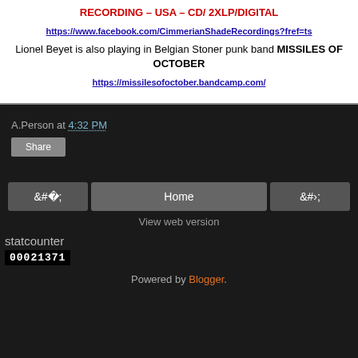RECORDING – USA – CD/ 2XLP/DIGITAL
https://www.facebook.com/CimmerianShadeRecordings?fref=ts
Lionel Beyet is also playing in Belgian Stoner punk band MISSILES OF OCTOBER
https://missilesofoctober.bandcamp.com/
A.Person at 4:32 PM
Share
‹  Home  ›  View web version  statcounter 00021371  Powered by Blogger.